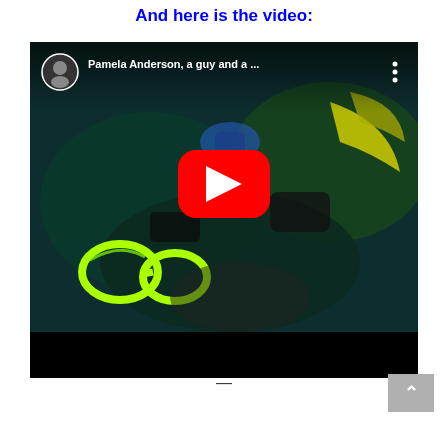And here is the video:
[Figure (screenshot): YouTube video embed showing underwater scuba diving scene titled 'Pamela Anderson, a guy and a ...' with a red YouTube play button in the center, channel icon in top left corner, and three-dot menu in top right.]
—